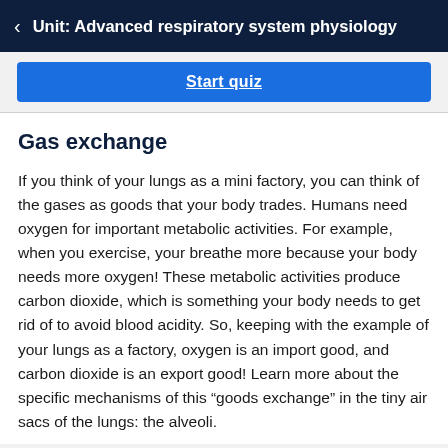Unit: Advanced respiratory system physiology
[Figure (screenshot): Start quiz button — blue rounded rectangle with white underlined bold text 'Start quiz']
Gas exchange
If you think of your lungs as a mini factory, you can think of the gases as goods that your body trades. Humans need oxygen for important metabolic activities. For example, when you exercise, your breathe more because your body needs more oxygen! These metabolic activities produce carbon dioxide, which is something your body needs to get rid of to avoid blood acidity. So, keeping with the example of your lungs as a factory, oxygen is an import good, and carbon dioxide is an export good! Learn more about the specific mechanisms of this “goods exchange” in the tiny air sacs of the lungs: the alveoli.